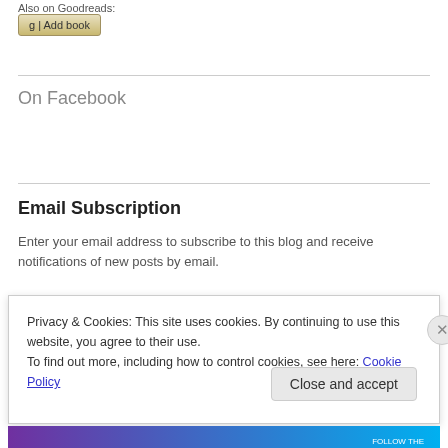Also on Goodreads:
[Figure (other): Goodreads 'g | Add book' button]
On Facebook
Email Subscription
Enter your email address to subscribe to this blog and receive notifications of new posts by email.
Privacy & Cookies: This site uses cookies. By continuing to use this website, you agree to their use.
To find out more, including how to control cookies, see here: Cookie Policy